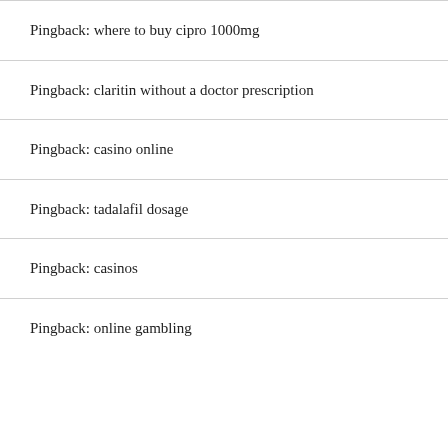Pingback: where to buy cipro 1000mg
Pingback: claritin without a doctor prescription
Pingback: casino online
Pingback: tadalafil dosage
Pingback: casinos
Pingback: online gambling